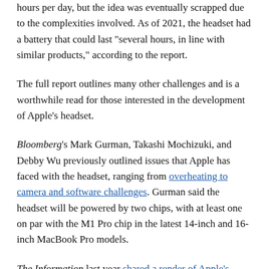hours per day, but the idea was eventually scrapped due to the complexities involved. As of 2021, the headset had a battery that could last "several hours, in line with similar products," according to the report.
The full report outlines many other challenges and is a worthwhile read for those interested in the development of Apple's headset.
Bloomberg's Mark Gurman, Takashi Mochizuki, and Debby Wu previously outlined issues that Apple has faced with the headset, ranging from overheating to camera and software challenges. Gurman said the headset will be powered by two chips, with at least one on par with the M1 Pro chip in the latest 14-inch and 16-inch MacBook Pro models.
The Information last year shared a render of Apple's supposed headset based on a "late-stage prototype" that it viewed. The report claimed the headset would have a curved visor with a soft mesh material, swappable headbands, and dual 8K displays. There may even be a third display, according to display industry consultant Ross Young.